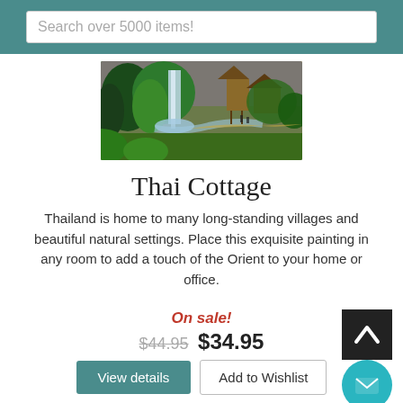Search over 5000 items!
[Figure (photo): Landscape painting of a Thai village with waterfall, lush green trees, wooden cottages on stilts, and a pathway through the village]
Thai Cottage
Thailand is home to many long-standing villages and beautiful natural settings. Place this exquisite painting in any room to add a touch of the Orient to your home or office.
On sale!
$44.95 $34.95